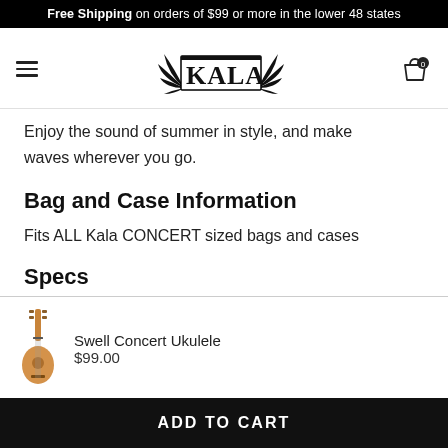Free Shipping on orders of $99 or more in the lower 48 states
[Figure (logo): Kala brand logo with stylized text and palm frond decoration, black and white]
Enjoy the sound of summer in style, and make waves wherever you go.
Bag and Case Information
Fits ALL Kala CONCERT sized bags and cases
Specs
Swell Concert Ukulele
$99.00
ADD TO CART